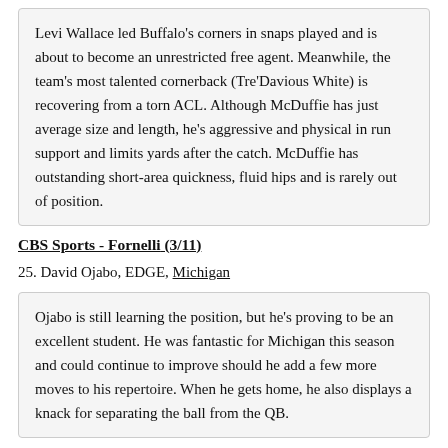Levi Wallace led Buffalo's corners in snaps played and is about to become an unrestricted free agent. Meanwhile, the team's most talented cornerback (Tre'Davious White) is recovering from a torn ACL. Although McDuffie has just average size and length, he's aggressive and physical in run support and limits yards after the catch. McDuffie has outstanding short-area quickness, fluid hips and is rarely out of position.
CBS Sports - Fornelli (3/11)
25. David Ojabo, EDGE, Michigan
Ojabo is still learning the position, but he's proving to be an excellent student. He was fantastic for Michigan this season and could continue to improve should he add a few more moves to his repertoire. When he gets home, he also displays a knack for separating the ball from the QB.
San Diego Union Tribune - Brown (3/10)